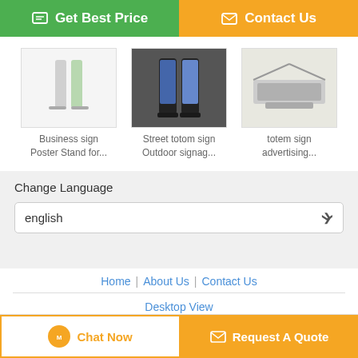[Figure (screenshot): Green 'Get Best Price' button with chat icon on left]
[Figure (screenshot): Orange 'Contact Us' button with envelope icon on right]
[Figure (photo): Product image: Business sign Poster Stand]
Business sign Poster Stand for...
[Figure (photo): Product image: Street totem sign Outdoor signage]
Street totom sign Outdoor signag...
[Figure (photo): Product image: totem sign advertising]
totem sign advertising...
Change Language
english
Home | About Us | Contact Us
Desktop View
China Totem Supplier. Copyright © 2016 - 2022 signokay.com. All rights reserved. Developed by ECER
[Figure (screenshot): Orange 'Chat Now' button with chat icon]
[Figure (screenshot): Orange 'Request A Quote' button with envelope icon]